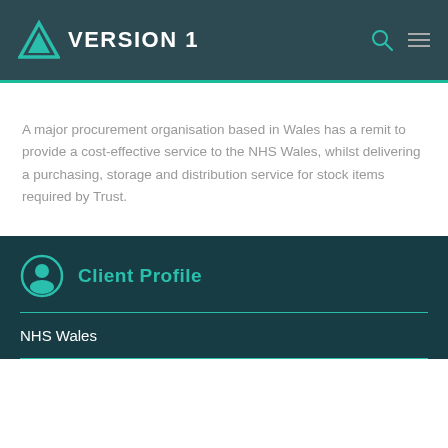VERSION 1
A major procurement organisation based in Wales has a remit to provide a cost-effective service to the NHS Wales, whilst delivering a purchasing, storage and distribution service for stock items required by Trust.
Client Profile
NHS Wales